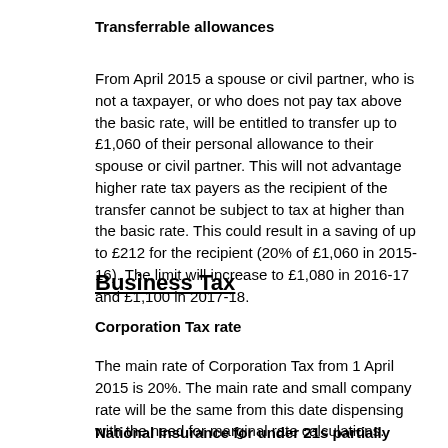Transferrable allowances
From April 2015 a spouse or civil partner, who is not a taxpayer, or who does not pay tax above the basic rate, will be entitled to transfer up to £1,060 of their personal allowance to their spouse or civil partner. This will not advantage higher rate tax payers as the recipient of the transfer cannot be subject to tax at higher than the basic rate. This could result in a saving of up to £212 for the recipient (20% of £1,060 in 2015-16). The limit will increase to £1,080 in 2016-17 and £1,100 in 2017-18.
Business Tax
Corporation Tax rate
The main rate of Corporation Tax from 1 April 2015 is 20%. The main rate and small company rate will be the same from this date dispensing with the need for marginal rate calculations.
National Insurance for under 21s partially